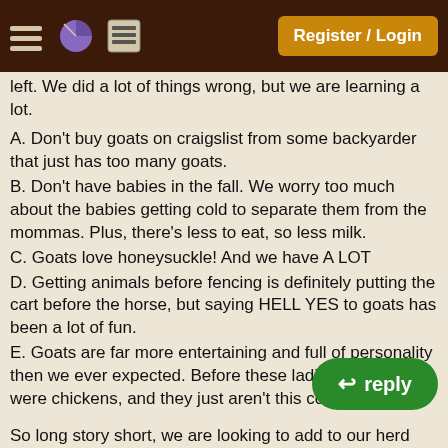Register / Login
left. We did a lot of things wrong, but we are learning a lot.
A. Don't buy goats on craigslist from some backyarder that just has too many goats.
B. Don't have babies in the fall. We worry too much about the babies getting cold to separate them from the mommas. Plus, there's less to eat, so less milk.
C. Goats love honeysuckle! And we have A LOT
D. Getting animals before fencing is definitely putting the cart before the horse, but saying HELL YES to goats has been a lot of fun.
E. Goats are far more entertaining and full of personality then we ever expected. Before these ladies, all we had were chickens, and they just aren't this cool.
So long story short, we are looking to add to our herd this Spring. We want another milker, most likely of a different breed, or even a mix, preferably expecting. And also a fiber goat, as my mother is interested in spinning and weaving.